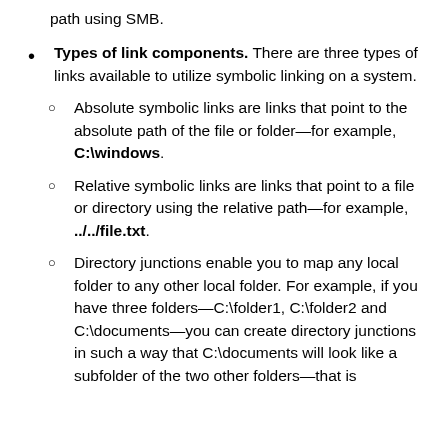a remote symbolic link that points to a remote UNC path using SMB.
Types of link components. There are three types of links available to utilize symbolic linking on a system.
Absolute symbolic links are links that point to the absolute path of the file or folder—for example, C:\windows.
Relative symbolic links are links that point to a file or directory using the relative path—for example, ../../file.txt.
Directory junctions enable you to map any local folder to any other local folder. For example, if you have three folders—C:\folder1, C:\folder2 and C:\documents—you can create directory junctions in such a way that C:\documents will look like a subfolder of the two other folders—that is